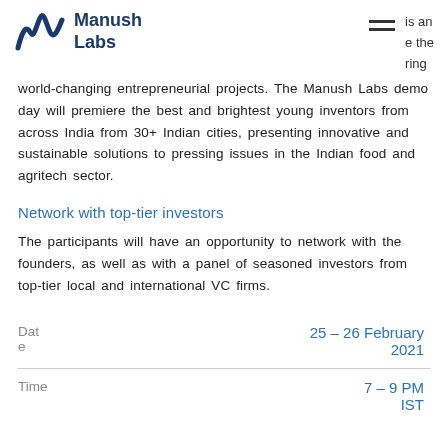Manush Labs
world-changing entrepreneurial projects. The Manush Labs demo day will premiere the best and brightest young inventors from across India from 30+ Indian cities, presenting innovative and sustainable solutions to pressing issues in the Indian food and agritech sector.
Network with top-tier investors
The participants will have an opportunity to network with the founders, as well as with a panel of seasoned investors from top-tier local and international VC firms.
|  |  |
| --- | --- |
| Date | 25 – 26 February 2021 |
| Time | 7 – 9 PM IST |